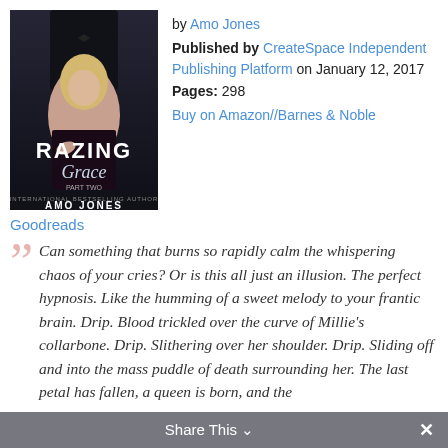[Figure (illustration): Book cover for 'Razing Grace Part Two' by Amo Jones. Dark cover showing a woman with blonde hair and a man in a tuxedo. Title text 'RAZING Grace' overlaid, with 'INTERNATIONAL BESTSELLING AUTHOR AMO JONES' at bottom.]
by Amo Jones
Published by CreateSpace Independent Publishing Platform on January 12, 2017
Pages: 298
Buy on Amazon//Barnes & Noble
Goodreads
Can something that burns so rapidly calm the whispering chaos of your cries? Or is this all just an illusion. The perfect hypnosis. Like the humming of a sweet melody to your frantic brain. Drip. Blood trickled over the curve of Millie's collarbone. Drip. Slithering over her shoulder. Drip. Sliding off and into the mass puddle of death surrounding her. The last petal has fallen, a queen is born, and the
Share This